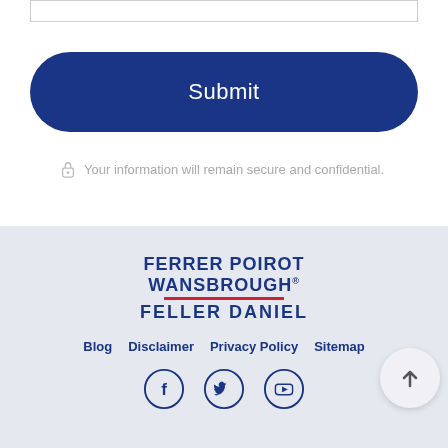[Figure (screenshot): Input text field box at top of form]
[Figure (screenshot): Submit button, dark navy blue rounded rectangle with white 'Submit' text]
Your information will remain secure and confidential.
[Figure (logo): Ferrer Poirot Wansbrough Feller Daniel law firm logo with red underline]
Blog   Disclaimer   Privacy Policy   Sitemap
[Figure (illustration): Social media icons: Facebook, Twitter, YouTube in navy circle outlines]